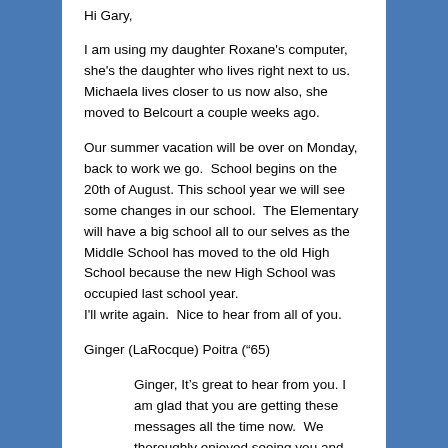Hi Gary,
I am using my daughter Roxane's computer, she's the daughter who lives right next to us. Michaela lives closer to us now also, she moved to Belcourt a couple weeks ago.
Our summer vacation will be over on Monday, back to work we go. School begins on the 20th of August. This school year we will see some changes in our school. The Elementary will have a big school all to our selves as the Middle School has moved to the old High School because the new High School was occupied last school year. I'll write again. Nice to hear from all of you.
Ginger (LaRocque) Poitra (“65)
Ginger, It’s great to hear from you. I am glad that you are getting these messages all the time now. We thoroughly enjoyed seeing you and your sisters last summer. Bernadette really enjoyed your company and was so glad she met and learned to know you